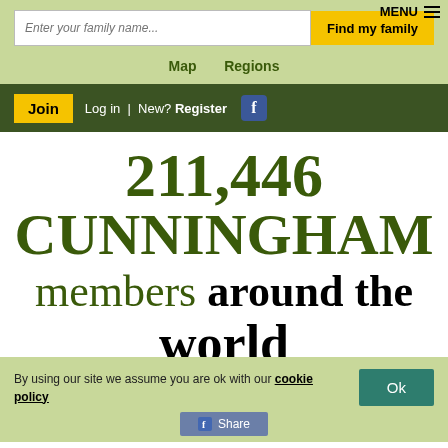MENU
Enter your family name...
Find my family
Map   Regions
Join  Log in  | New? Register
211,446
CUNNINGHAM
members around the world
By using our site we assume you are ok with our cookie policy
Ok
Share